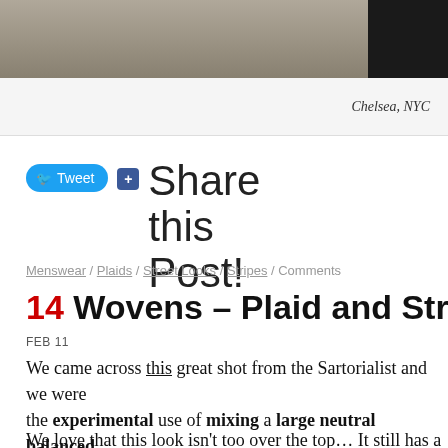[Figure (photo): Partial photo showing street scene, cropped at top of page, Chelsea NYC]
Chelsea, NYC
Tweet  +  Share this Post!
Menswear / Plaids / Street Looks / Stripes / Comments
14 Wovens – Plaid and Stripe Play
FEB 11
We came across this great shot from the Sartorialist and we were struck by the experimental use of mixing a large neutral balanced ... striped tie!
We love that this look isn't too over the top… It still has a clas... the blazer style from looking too boring or traditional...